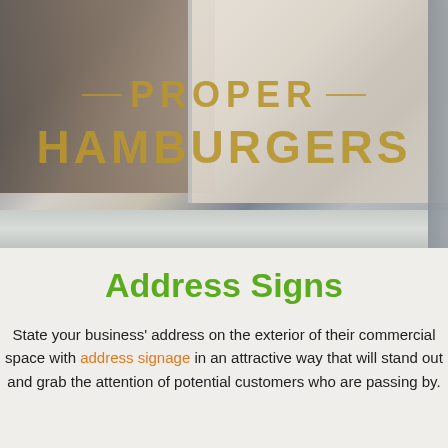[Figure (photo): Exterior photo of a restaurant storefront window displaying golden lettering reading 'PROPER HAMBURGERS' on a white brick wall background, with interior of restaurant visible through the glass window]
Address Signs
State your business' address on the exterior of their commercial space with address signage in an attractive way that will stand out and grab the attention of potential customers who are passing by.